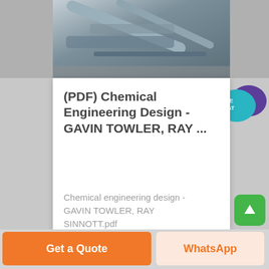[Figure (photo): Partial view of industrial mechanical equipment / robotic arm in blue-grey tones]
[Figure (other): Live Chat button bubble icon — teal speech bubble with 'LIVE CHAT' text and purple chat bubble]
(PDF) Chemical Engineering Design - GAVIN TOWLER, RAY ...
Chemical engineering design - GAVIN TOWLER, RAY SINNOTT.pdf
Get a Quote
WhatsApp